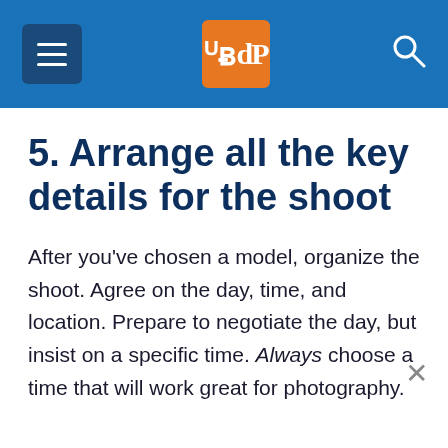dPS (digital photography school logo)
5. Arrange all the key details for the shoot
After you've chosen a model, organize the shoot. Agree on the day, time, and location. Prepare to negotiate the day, but insist on a specific time. Always choose a time that will work great for photography.